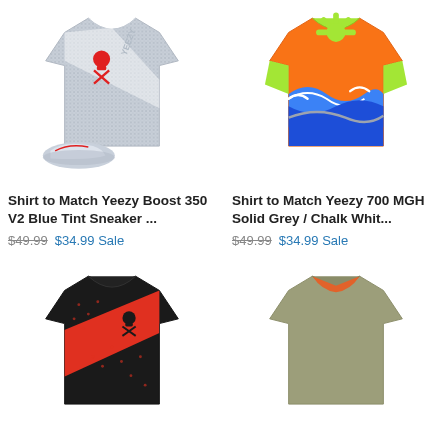[Figure (photo): Gray speckled t-shirt with red skull and crossbones design, displayed with Yeezy Boost 350 V2 Blue Tint sneakers]
[Figure (photo): Colorful t-shirt with Japanese wave and sun design in orange, yellow-green, and blue colors]
Shirt to Match Yeezy Boost 350 V2 Blue Tint Sneaker ...
$49.99  $34.99 Sale
Shirt to Match Yeezy 700 MGH Solid Grey / Chalk Whit...
$49.99  $34.99 Sale
[Figure (photo): Black and red t-shirt with diagonal stripe and skull crossbones design]
[Figure (photo): Orange and sage green mandala/spiral pattern t-shirt]